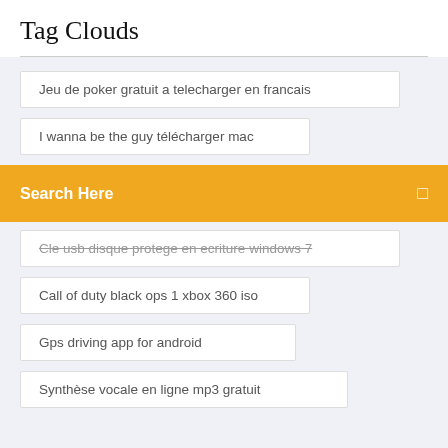Tag Clouds
Jeu de poker gratuit a telecharger en francais
I wanna be the guy télécharger mac
Search Here
Cle usb disque protege en ecriture windows 7
Call of duty black ops 1 xbox 360 iso
Gps driving app for android
Synthèse vocale en ligne mp3 gratuit